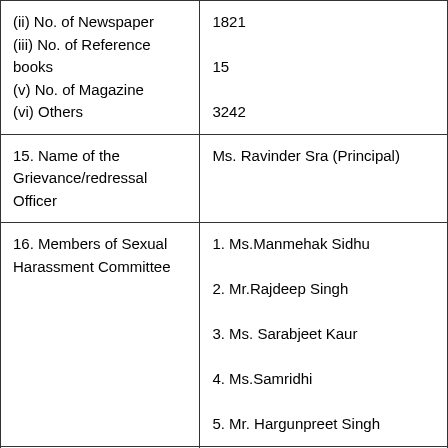| (ii) No. of Newspaper
(iii) No. of Reference books
(v) No. of Magazine
(vi) Others | 1821

15

3242 |
| 15. Name of the Grievance/redressal Officer | Ms. Ravinder Sra (Principal) |
| 16. Members of Sexual Harassment Committee | 1. Ms.Manmehak Sidhu
2. Mr.Rajdeep Singh
3. Ms. Sarabjeet Kaur
4. Ms.Samridhi
5. Mr. Hargunpreet Singh |
| 17. Student's Enrolment of School | Click Here |
|  |  |